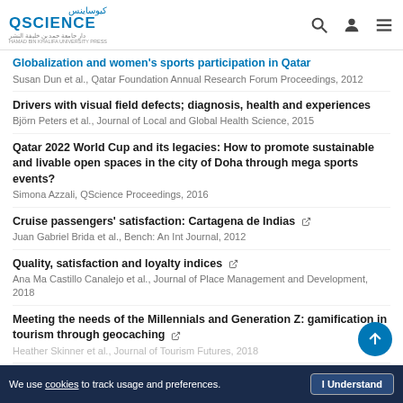QScience
Globalization and women's sports participation in Qatar — Susan Dun et al., Qatar Foundation Annual Research Forum Proceedings, 2012
Drivers with visual field defects; diagnosis, health and experiences — Björn Peters et al., Journal of Local and Global Health Science, 2015
Qatar 2022 World Cup and its legacies: How to promote sustainable and livable open spaces in the city of Doha through mega sports events? — Simona Azzali, QScience Proceedings, 2016
Cruise passengers' satisfaction: Cartagena de Indias — Juan Gabriel Brida et al., Bench: An Int Journal, 2012
Quality, satisfaction and loyalty indices — Ana Ma Castillo Canalejo et al., Journal of Place Management and Development, 2018
Meeting the needs of the Millennials and Generation Z: gamification in tourism through geocaching — Heather Skinner et al., Journal of Tourism Futures, 2018
We use cookies to track usage and preferences. I Understand